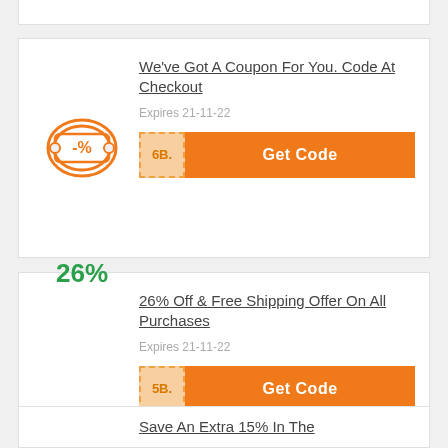We've Got A Coupon For You. Code At Checkout
Expires 21-11-22
6B. Get Code
26% Off & Free Shipping Offer On All Purchases
Expires 21-11-22
5B. Get Code
Save An Extra 15% In The